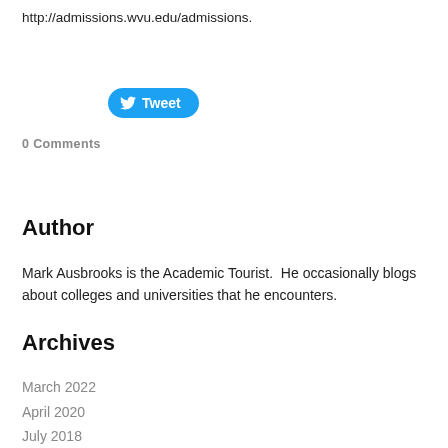http://admissions.wvu.edu/admissions.
[Figure (other): Twitter Tweet button with bird logo]
0 Comments
Author
Mark Ausbrooks is the Academic Tourist.  He occasionally blogs about colleges and universities that he encounters.
Archives
March 2022
April 2020
July 2018
May 2018